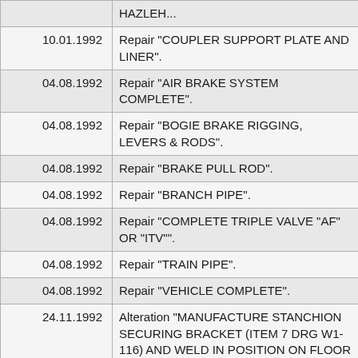| Date | Description |
| --- | --- |
|  | HAZLEH... |
| 10.01.1992 | Repair "COUPLER SUPPORT PLATE AND LINER". |
| 04.08.1992 | Repair "AIR BRAKE SYSTEM COMPLETE". |
| 04.08.1992 | Repair "BOGIE BRAKE RIGGING, LEVERS & RODS". |
| 04.08.1992 | Repair "BRAKE PULL ROD". |
| 04.08.1992 | Repair "BRANCH PIPE". |
| 04.08.1992 | Repair "COMPLETE TRIPLE VALVE "AF" OR "ITV"". |
| 04.08.1992 | Repair "TRAIN PIPE". |
| 04.08.1992 | Repair "VEHICLE COMPLETE". |
| 24.11.1992 | Alteration "MANUFACTURE STANCHION SECURING BRACKET (ITEM 7 DRG W1-116) AND WELD IN POSITION ON FLOOR DECK. PRODUCE A 17MM HOLE THROUGH WEB PLATE OF STANCHION AND SECURE STANCHION TO SECURING... |